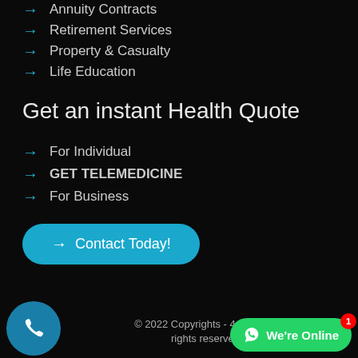Annuity Contracts
Retirement Services
Property & Casualty
Life Education
Get an instant Health Quote
For Individual
GET TELEMEDICINE
For Business
→ Contact Today!
© 2022 Copyrights - 4ever The rights reserved